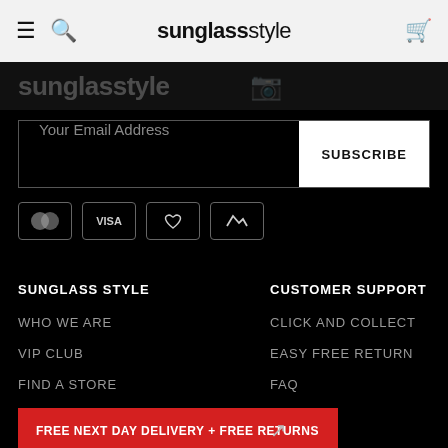sunglass style
[Figure (screenshot): Faded sunglass style logo text on dark background header strip]
Your Email Address
SUBSCRIBE
[Figure (other): Payment method icons: Mastercard, VISA, heart/love pay, crypto/afterpay]
SUNGLASS STYLE
CUSTOMER SUPPORT
WHO WE ARE
CLICK AND COLLECT
VIP CLUB
EASY FREE RETURN
FIND A STORE
FAQ
FREE NEXT DAY DELIVERY + FREE RETURNS
CAREERS